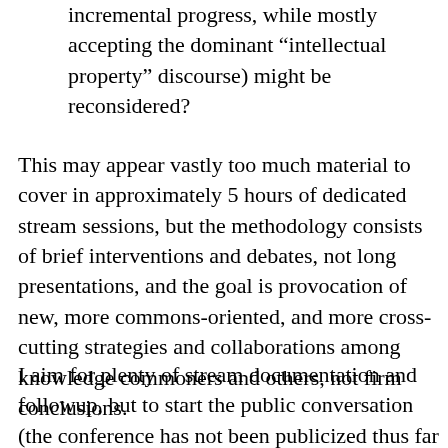incremental progress, while mostly accepting the dominant “intellectual property” discourse) might be reconsidered?
This may appear vastly too much material to cover in approximately 5 hours of dedicated stream sessions, but the methodology consists of brief interventions and debates, not long presentations, and the goal is provocation of new, more commons-oriented, and more cross-cutting strategies and collaborations among knowledge commoners and others, not firm conclusions.
I aim for plenty of stream documentation and followup, but to start the public conversation (the conference has not been publicized thus far due to a hard limit on attendees; now those are settled) by asking each of the “knowledge commoners” participants to recommend a